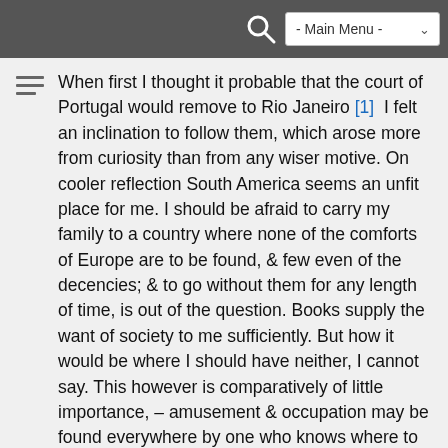- Main Menu -
When first I thought it probable that the court of Portugal would remove to Rio Janeiro [1] I felt an inclination to follow them, which arose more from curiosity than from any wiser motive. On cooler reflection South America seems an unfit place for me. I should be afraid to carry my family to a country where none of the comforts of Europe are to be found, & few even of the decencies; & to go without them for any length of time, is out of the question. Books supply the want of society to me sufficiently. But how it would be where I should have neither, I cannot say. This however is comparatively of little importance, – amusement & occupation may be found everywhere by one who knows where to look for them. But my employments would be disturbed – it would be impossible to carry a library with me, there will be none there. – & to suspend my history for some years